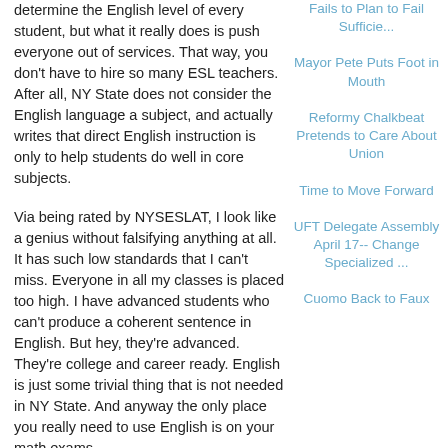determine the English level of every student, but what it really does is push everyone out of services. That way, you don't have to hire so many ESL teachers. After all, NY State does not consider the English language a subject, and actually writes that direct English instruction is only to help students do well in core subjects.
Via being rated by NYSESLAT, I look like a genius without falsifying anything at all. It has such low standards that I can't miss. Everyone in all my classes is placed too high. I have advanced students who can't produce a coherent sentence in English. But hey, they're advanced. They're college and career ready. English is just some trivial thing that is not needed in NY State. And anyway the only place you really need to use English is on your math exams.
I'm almost finished. I don't consider proctoring exams to be important work. Anyone can do it. They could hire a bunch of students to do it. That's what they did when I took whatever the exam was that I needed to get my certification. For me, the hardest thing was to sit for six hours. It was kind of like proctoring.
Fails to Plan to Fail Sufficie...
Mayor Pete Puts Foot in Mouth
Reformy Chalkbeat Pretends to Care About Union
Time to Move Forward
UFT Delegate Assembly April 17-- Change Specialized ...
Cuomo Back to Faux